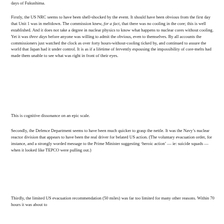days of Fukushima.
Firstly, the US NRC seems to have been shell-shocked by the event. It should have been obvious from the first day that Unit 1 was in meltdown. The commission knew, for a fact, that there was no cooling in the core; this is well established. And it does not take a degree in nuclear physics to know what happens to nuclear cores without cooling. Yet it was three days before anyone was willing to admit the obvious, even to themselves. By all accounts the commissioners just watched the clock as over forty hours-without-cooling ticked by, and continued to assure the world that Japan had it under control. It is as if a lifetime of fervently espousing the impossibility of core-melts had made them unable to see what was right in front of their eyes.
This is cognitive dissonance on an epic scale.
Secondly, the Defence Department seems to have been much quicker to grasp the nettle. It was the Navy’s nuclear reactor division that appears to have been the real driver for belated US action. (The voluntary evacuation order, for instance, and a strongly worded message to the Prime Minister suggesting ‘heroic action’ — ie: suicide squads — when it looked like TEPCO were pulling out.)
Thirdly, the limited US evacuation recommendation (50 miles) was far too limited for many other reasons. Within 70 hours it was about to...